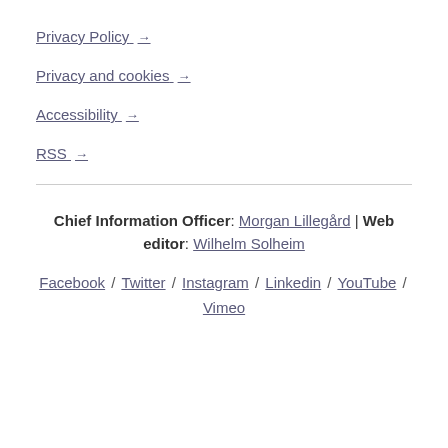Privacy Policy →
Privacy and cookies →
Accessibility →
RSS →
Chief Information Officer: Morgan Lillegård | Web editor: Wilhelm Solheim
Facebook / Twitter / Instagram / Linkedin / YouTube / Vimeo